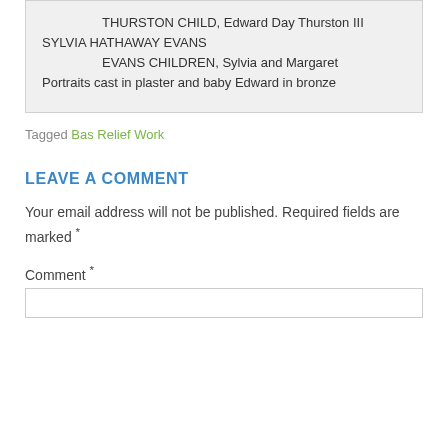THURSTON CHILD, Edward Day Thurston III
SYLVIA HATHAWAY EVANS
    EVANS CHILDREN, Sylvia and Margaret
Portraits cast in plaster and baby Edward in bronze
Tagged Bas Relief Work
LEAVE A COMMENT
Your email address will not be published. Required fields are marked *
Comment *